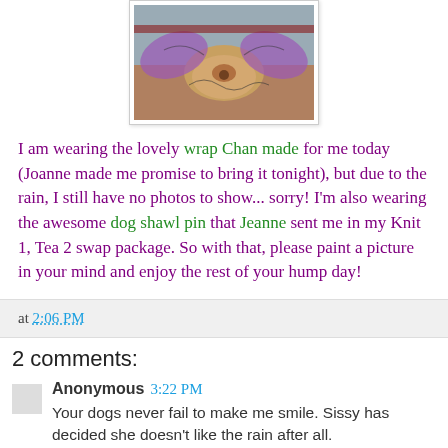[Figure (photo): Photo of a dog with decorative wings/shawl, shown from above on a textured surface]
I am wearing the lovely wrap Chan made for me today (Joanne made me promise to bring it tonight), but due to the rain, I still have no photos to show... sorry! I'm also wearing the awesome dog shawl pin that Jeanne sent me in my Knit 1, Tea 2 swap package. So with that, please paint a picture in your mind and enjoy the rest of your hump day!
at 2:06 PM
2 comments:
Anonymous  3:22 PM
Your dogs never fail to make me smile. Sissy has decided she doesn't like the rain after all.
When *DO* we get to drop stitches?!